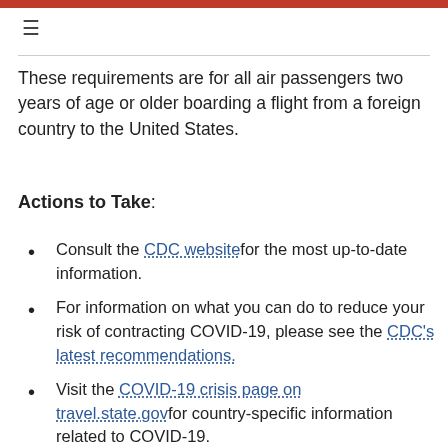These requirements are for all air passengers two years of age or older boarding a flight from a foreign country to the United States.
Actions to Take:
Consult the CDC website for the most up-to-date information.
For information on what you can do to reduce your risk of contracting COVID-19, please see the CDC's latest recommendations.
Visit the COVID-19 crisis page on travel.state.gov for country-specific information related to COVID-19.
Check with your airlines, cruise lines, or travel operators regarding any updated information about